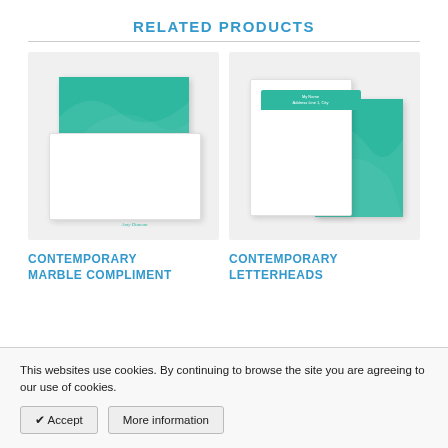RELATED PRODUCTS
[Figure (illustration): Product image of contemporary marble compliment slips — teal/marble rectangle card over a white flat card with name text and decorative footer line]
[Figure (illustration): Product image of contemporary letterheads — white sheet with teal header bar and name text, overlapping with a teal/marble full-page card]
CONTEMPORARY MARBLE COMPLIMENT
CONTEMPORARY LETTERHEADS
This websites use cookies. By continuing to browse the site you are agreeing to our use of cookies.
✔ Accept
More information